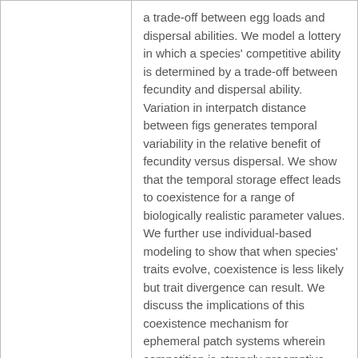|  | a trade-off between egg loads and dispersal abilities. We model a lottery in which a species' competitive ability is determined by a trade-off between fecundity and dispersal ability. Variation in interpatch distance between figs generates temporal variability in the relative benefit of fecundity versus dispersal. We show that the temporal storage effect leads to coexistence for a range of biologically realistic parameter values. We further use individual-based modeling to show that when species' traits evolve, coexistence is less likely but trait divergence can result. We discuss the implications of this coexistence mechanism for ephemeral patch systems wherein competition is strongly preemptive. |
| Date of publication | 2014 |
| Code Programming | C |